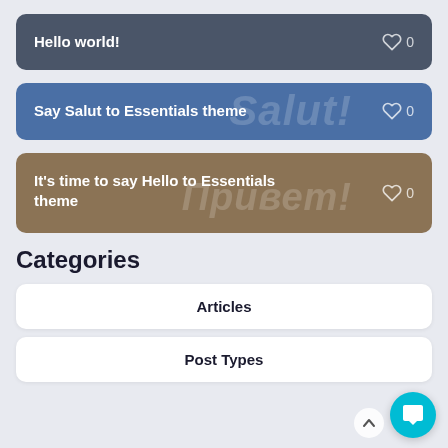[Figure (screenshot): Dark grey post card with title 'Hello world!' and a heart icon with count 0]
[Figure (screenshot): Blue post card with title 'Say Salut to Essentials theme', watermark text 'Salut!', and heart icon with count 0]
[Figure (screenshot): Brown post card with title 'It's time to say Hello to Essentials theme', watermark text 'Привет!', and heart icon with count 0]
Categories
Articles
Post Types